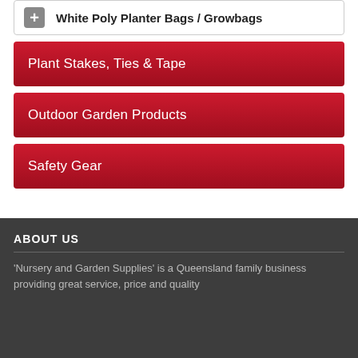White Poly Planter Bags / Growbags
Plant Stakes, Ties & Tape
Outdoor Garden Products
Safety Gear
ABOUT US
'Nursery and Garden Supplies' is a Queensland family business providing great service, price and quality